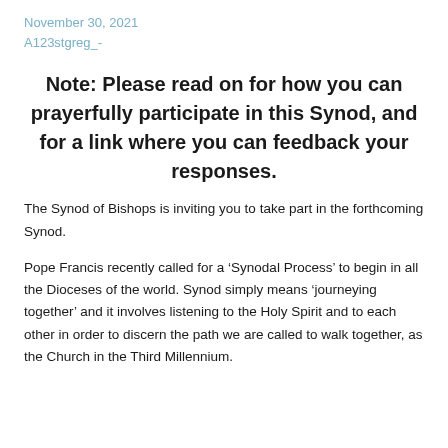November 30, 2021
A123stgreg_-
Note: Please read on for how you can prayerfully participate in this Synod, and for a link where you can feedback your responses.
The Synod of Bishops is inviting you to take part in the forthcoming Synod.
Pope Francis recently called for a ‘Synodal Process’ to begin in all the Dioceses of the world. Synod simply means ‘journeying together’ and it involves listening to the Holy Spirit and to each other in order to discern the path we are called to walk together, as the Church in the Third Millennium.